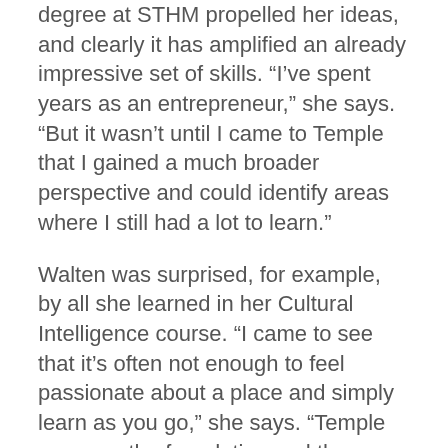degree at STHM propelled her ideas, and clearly it has amplified an already impressive set of skills. “I’ve spent years as an entrepreneur,” she says. “But it wasn’t until I came to Temple that I gained a much broader perspective and could identify areas where I still had a lot to learn.”
Walten was surprised, for example, by all she learned in her Cultural Intelligence course. “I came to see that it’s often not enough to feel passionate about a place and simply learn as you go,” she says. “Temple gave me the foundation and the breadth of perspective to inform a more complex view of the industry as well as the destination I called home.”
She also emphasizes the value of working closely with members of her cohort who are professionals